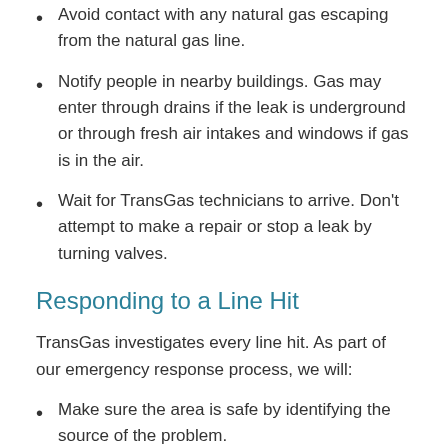Avoid contact with any natural gas escaping from the natural gas line.
Notify people in nearby buildings. Gas may enter through drains if the leak is underground or through fresh air intakes and windows if gas is in the air.
Wait for TransGas technicians to arrive. Don't attempt to make a repair or stop a leak by turning valves.
Responding to a Line Hit
TransGas investigates every line hit. As part of our emergency response process, we will:
Make sure the area is safe by identifying the source of the problem.
Clear people from the area whose safety may be at